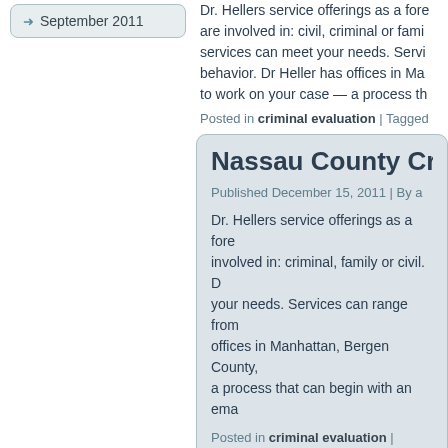September 2011
Dr. Hellers service offerings as a fore... are involved in: civil, criminal or fami... services can meet your needs. Servi... behavior. Dr Heller has offices in Ma... to work on your case — a process th...
Posted in criminal evaluation | Tagged...
Nassau County Cri...
Published December 15, 2011 | By a
Dr. Hellers service offerings as a fore... involved in: criminal, family or civil. D... your needs. Services can range from... offices in Manhattan, Bergen County,... a process that can begin with an ema...
Posted in criminal evaluation | Tagged...
Queens Criminal e...
Published December 12, 2011 | By a
Dr. Hellers service offerings as a fore... involved in: criminal, family or civil. C...